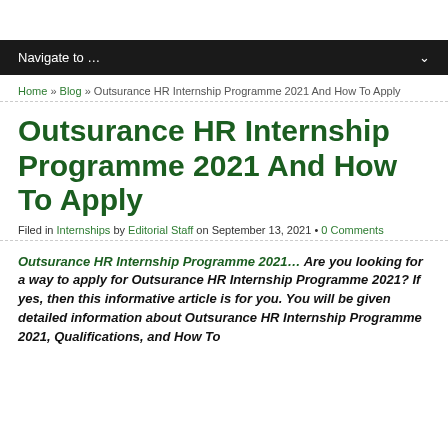Navigate to …
Home » Blog » Outsurance HR Internship Programme 2021 And How To Apply
Outsurance HR Internship Programme 2021 And How To Apply
Filed in Internships by Editorial Staff on September 13, 2021 • 0 Comments
Outsurance HR Internship Programme 2021… Are you looking for a way to apply for Outsurance HR Internship Programme 2021? If yes, then this informative article is for you. You will be given detailed information about Outsurance HR Internship Programme 2021, Qualifications, and How To